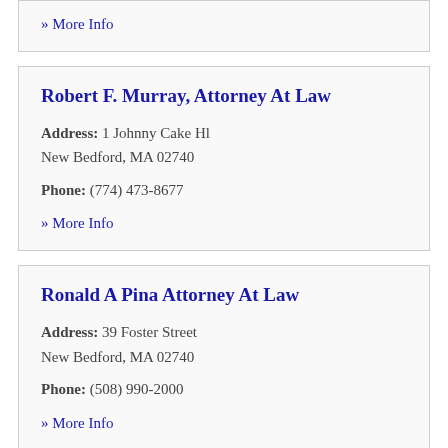» More Info
Robert F. Murray, Attorney At Law
Address: 1 Johnny Cake Hl
New Bedford, MA 02740
Phone: (774) 473-8677
» More Info
Ronald A Pina Attorney At Law
Address: 39 Foster Street
New Bedford, MA 02740
Phone: (508) 990-2000
» More Info